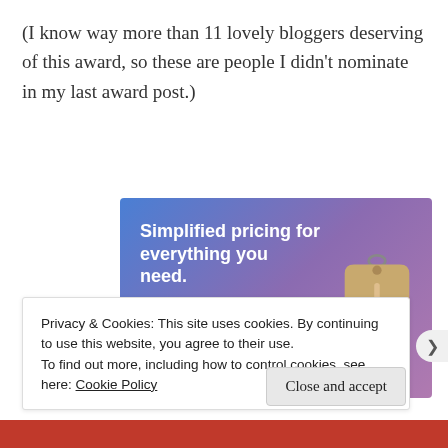(I know way more than 11 lovely bloggers deserving of this award, so these are people I didn't nominate in my last award post.)
[Figure (infographic): Advertisement banner with gradient blue-purple background showing 'Simplified pricing for everything you need.' text, a pink 'Build Your Website' button, and a 3D price tag graphic on the right.]
Privacy & Cookies: This site uses cookies. By continuing to use this website, you agree to their use.
To find out more, including how to control cookies, see here: Cookie Policy
Close and accept